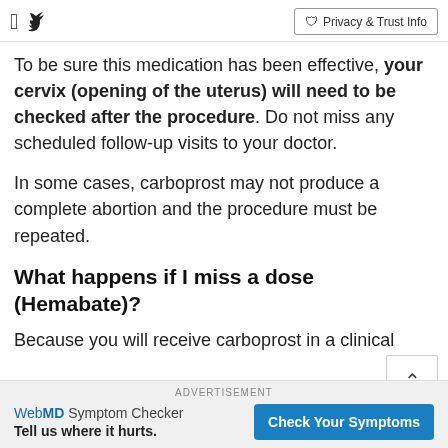Social icons: Facebook, Twitter | Privacy & Trust Info
To be sure this medication has been effective, your cervix (opening of the uterus) will need to be checked after the procedure. Do not miss any scheduled follow-up visits to your doctor.
In some cases, carboprost may not produce a complete abortion and the procedure must be repeated.
What happens if I miss a dose (Hemabate)?
Because you will receive carboprost in a clinical
ADVERTISEMENT
WebMD Symptom Checker Tell us where it hurts. Check Your Symptoms